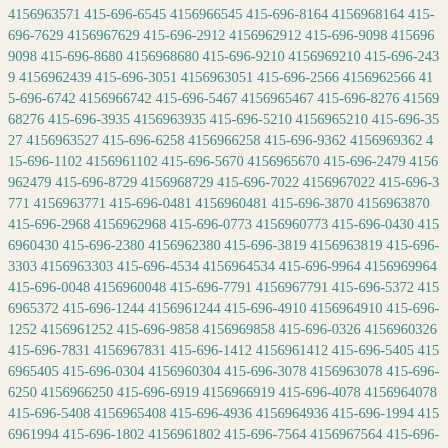4156963571 415-696-6545 4156966545 415-696-8164 4156968164 415-696-7629 4156967629 415-696-2912 4156962912 415-696-9098 4156969098 415-696-8680 4156968680 415-696-9210 4156969210 415-696-2439 4156962439 415-696-3051 4156963051 415-696-2566 4156962566 415-696-6742 4156966742 415-696-5467 4156965467 415-696-8276 4156968276 415-696-3935 4156963935 415-696-5210 4156965210 415-696-3527 4156963527 415-696-6258 4156966258 415-696-9362 4156969362 415-696-1102 4156961102 415-696-5670 4156965670 415-696-2479 4156962479 415-696-8729 4156968729 415-696-7022 4156967022 415-696-3771 4156963771 415-696-0481 4156960481 415-696-3870 4156963870 415-696-2968 4156962968 415-696-0773 4156960773 415-696-0430 4156960430 415-696-2380 4156962380 415-696-3819 4156963819 415-696-3303 4156963303 415-696-4534 4156964534 415-696-9964 4156969964 415-696-0048 4156960048 415-696-7791 4156967791 415-696-5372 4156965372 415-696-1244 4156961244 415-696-4910 4156964910 415-696-1252 4156961252 415-696-9858 4156969858 415-696-0326 4156960326 415-696-7831 4156967831 415-696-1412 4156961412 415-696-5405 4156965405 415-696-0304 4156960304 415-696-3078 4156963078 415-696-6250 4156966250 415-696-6919 4156966919 415-696-4078 4156964078 415-696-5408 4156965408 415-696-4936 4156964936 415-696-1994 4156961994 415-696-1802 4156961802 415-696-7564 4156967564 415-696-8585 4156968585 415-696-4820 4156964820 415-696-7579 4156967579 415-696-5273 4156965273 415-696-8705 4156968705 415-696-3837 4156963837 415-696-8843 4156968843 415-696-2067 4156962067 415-696-2345 4156962345 415-696-5633 4156965633 415-696-6852 4156966852 415-696-1914 4156961914 415-